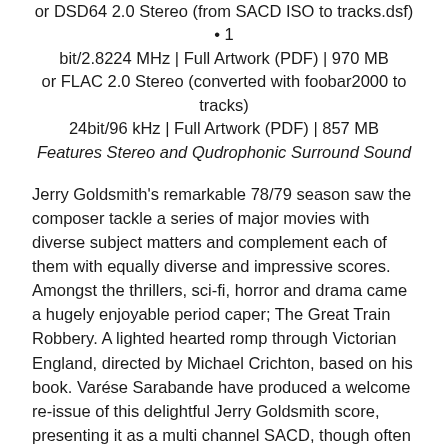or DSD64 2.0 Stereo (from SACD ISO to tracks.dsf) • 1 bit/2.8224 MHz | Full Artwork (PDF) | 970 MB
or FLAC 2.0 Stereo (converted with foobar2000 to tracks) 24bit/96 kHz | Full Artwork (PDF) | 857 MB
Features Stereo and Qudrophonic Surround Sound
Jerry Goldsmith's remarkable 78/79 season saw the composer tackle a series of major movies with diverse subject matters and complement each of them with equally diverse and impressive scores. Amongst the thrillers, sci-fi, horror and drama came a hugely enjoyable period caper; The Great Train Robbery. A lighted hearted romp through Victorian England, directed by Michael Crichton, based on his book. Varése Sarabande have produced a welcome re-issue of this delightful Jerry Goldsmith score, presenting it as a multi channel SACD, though often lacking the dynamics and vibrancy of the Memoir CD, and elevated it to deluxe edition status by including extra music too, though sadly this is not the complete score.